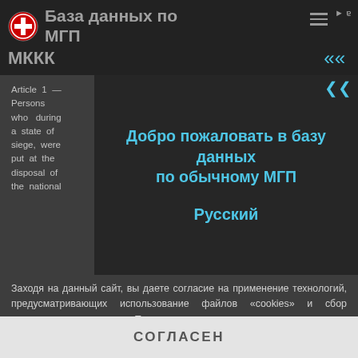База данных по МГП — МККК
[Figure (screenshot): ICRC red cross logo in header]
Добро пожаловать в базу данных по обычному МГП
Русский
Article 1 — Persons who during a state of siege, were put at the disposal of the national
Заходя на данный сайт, вы даете согласие на применение технологий, предусматривающих использование файлов «cookies» и сбор аналитических данных. Такие технологии позволяют настраивать содержание сайта, рекламные объявления и предоставлять функции социальных сетей. Они будут использоваться для анализа посещений сайта, что позволит нам понять предпочтения посетителей и улучшить предоставляемые услуги. Узнать больше
СОГЛАСЕН